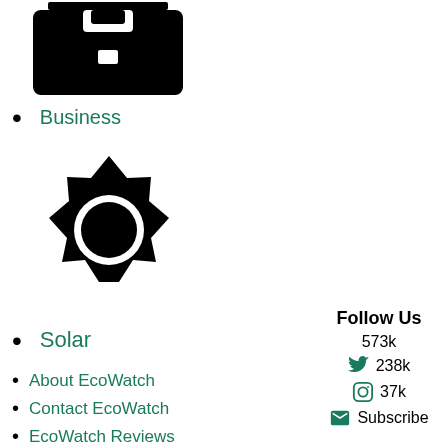[Figure (illustration): Black briefcase/business icon at top of left column]
Business
[Figure (illustration): Black sun/solar icon in left column]
Solar
About EcoWatch
Contact EcoWatch
EcoWatch Reviews
Terms of Use
Privacy Policy
Learn About Solar Energy
Follow Us
573k
238k
37k
Subscribe